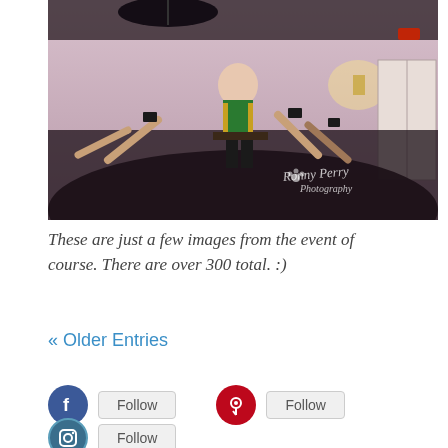[Figure (photo): A person dressed in a green and black costume is being lifted up by a crowd at an indoor event/party. The person is seated and raised above the crowd as people photograph the moment. A watermark reads 'Penny Perry Photography' in cursive.]
These are just a few images from the event of course. There are over 300 total. :)
« Older Entries
[Figure (other): Facebook Follow button]
[Figure (other): Pinterest Follow button]
[Figure (other): Instagram Follow button]